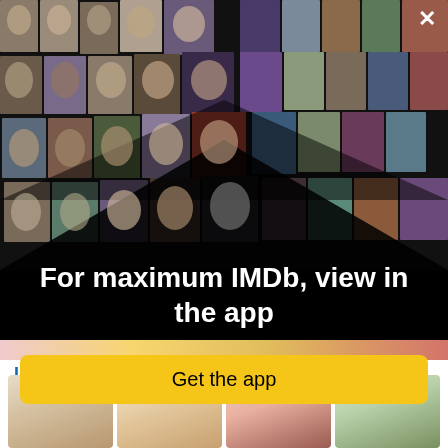[Figure (photo): IMDb app promotional overlay with collage of celebrity photos and movie posters arranged in a perspective grid on black background]
For maximum IMDb, view in the app
Get the app
LGBTQIA+ Couples
[Figure (photo): Two people with blonde hair, partial view, bottom of page]